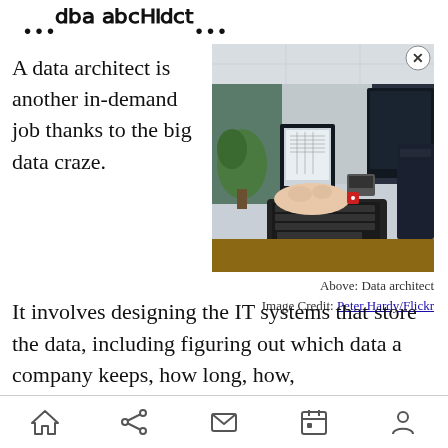…data architect…
A data architect is another in-demand job thanks to the big data craze.
[Figure (photo): Person typing on a keyboard at a desk with monitors and office equipment.]
Above: Data architect
Image Credit: Peter Hardy/Flickr
It involves designing the IT systems that store the data, including figuring out which data a company keeps, how long, how,
Home | Share | Mail | Calendar | Person